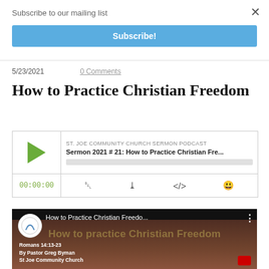Subscribe to our mailing list
Subscribe!
5/23/2021
0 Comments
How to Practice Christian Freedom
[Figure (screenshot): Podcast player widget showing ST. JOE COMMUNITY CHURCH SERMON PODCAST, Sermon 2021 # 21: How to Practice Christian Fre..., with play button, time display 00:00:00, and control icons]
[Figure (screenshot): YouTube video thumbnail showing 'How to Practice Christian Freedo...' with St Joe Community Church logo, watermark text, and caption: Romans 14:13-23, By Pastor Greg Byman, St Joe Community Church]